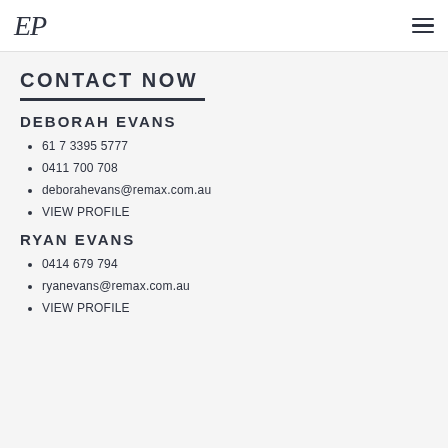EP
CONTACT NOW
DEBORAH EVANS
61 7 3395 5777
0411 700 708
deborahevans@remax.com.au
VIEW PROFILE
RYAN EVANS
0414 679 794
ryanevans@remax.com.au
VIEW PROFILE